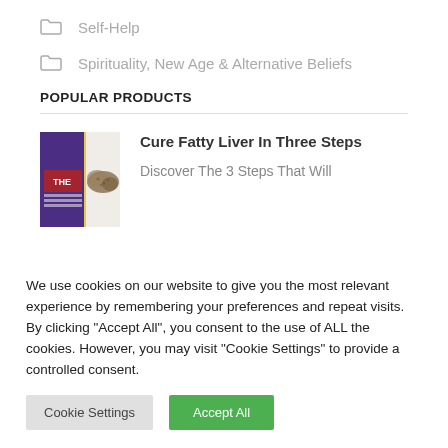Self-Help
Spirituality, New Age & Alternative Beliefs
POPULAR PRODUCTS
[Figure (illustration): Book cover for Cure Fatty Liver In Three Steps with purple background and liver image]
Cure Fatty Liver In Three Steps
Discover The 3 Steps That Will
We use cookies on our website to give you the most relevant experience by remembering your preferences and repeat visits. By clicking "Accept All", you consent to the use of ALL the cookies. However, you may visit "Cookie Settings" to provide a controlled consent.